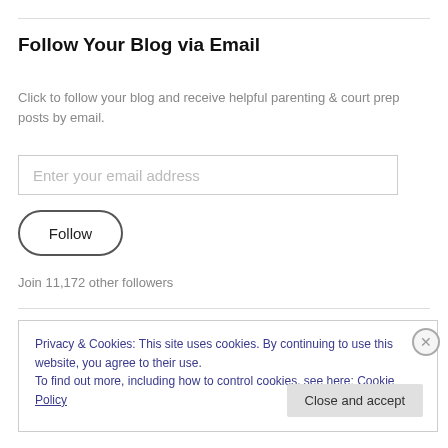Follow Your Blog via Email
Click to follow your blog and receive helpful parenting & court prep posts by email.
Enter your email address
Follow
Join 11,172 other followers
Privacy & Cookies: This site uses cookies. By continuing to use this website, you agree to their use. To find out more, including how to control cookies, see here: Cookie Policy
Close and accept